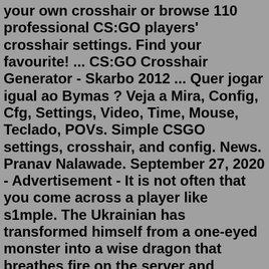your own crosshair or browse 110 professional CS:GO players' crosshair settings. Find your favourite! ... CS:GO Crosshair Generator - Skarbo 2012 ... Quer jogar igual ao Bymas ? Veja a Mira, Config, Cfg, Settings, Video, Time, Mouse, Teclado, POVs. Simple CSGO settings, crosshair, and config. News. Pranav Nalawade. September 27, 2020 - Advertisement - It is not often that you come across a player like s1mple. The Ukrainian has transformed himself from a one-eyed monster into a wise dragon that breathes fire on the server and freezes the viewers' eyes with amazement.Welcome to our CS:GO Pro Settings and Gear List. This is where we get our data from to give you our analysis on the most used gaming peripherals and gear and our competitive settings guide.We research everything we can find from settings like DPI & eDPI, sensitivity, and resolution to gear and hardware like monitors, mice, mousepads, and keyboards.I was installing some cfgs and stuff to make csgo less laggier it my laptop, i tried to disable multicore rendering in the